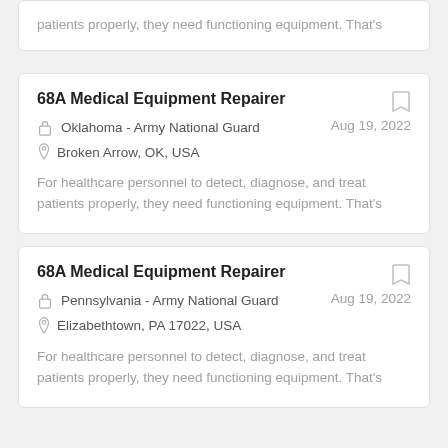patients properly, they need functioning equipment. That's
68A Medical Equipment Repairer
Oklahoma - Army National Guard
Aug 19, 2022
Broken Arrow, OK, USA
For healthcare personnel to detect, diagnose, and treat patients properly, they need functioning equipment. That's
68A Medical Equipment Repairer
Pennsylvania - Army National Guard
Aug 19, 2022
Elizabethtown, PA 17022, USA
For healthcare personnel to detect, diagnose, and treat patients properly, they need functioning equipment. That's